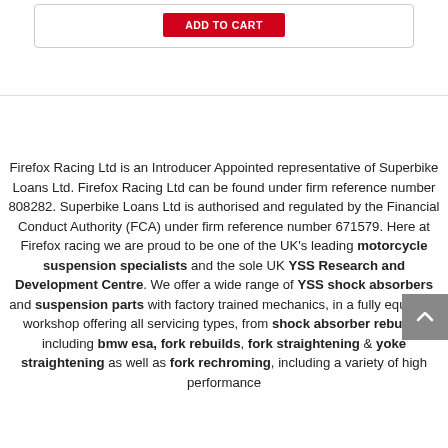[Figure (other): Red Add to Cart button inside a bordered card]
Firefox Racing Ltd is an Introducer Appointed representative of Superbike Loans Ltd. Firefox Racing Ltd can be found under firm reference number 808282. Superbike Loans Ltd is authorised and regulated by the Financial Conduct Authority (FCA) under firm reference number 671579. Here at Firefox racing we are proud to be one of the UK's leading motorcycle suspension specialists and the sole UK YSS Research and Development Centre. We offer a wide range of YSS shock absorbers and suspension parts with factory trained mechanics, in a fully equipped workshop offering all servicing types, from shock absorber rebuilds including bmw esa, fork rebuilds, fork straightening & yoke straightening as well as fork rechroming, including a variety of high performance